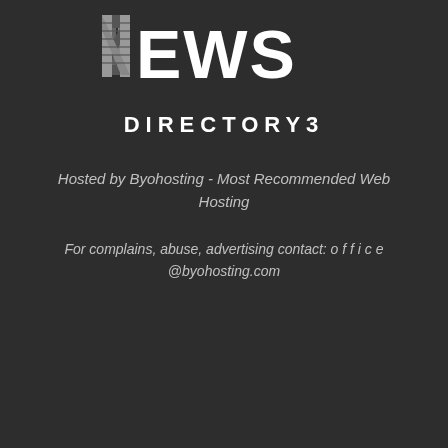[Figure (logo): News Directory3 logo with stylized N made of columns and the text NEWS in large white letters]
Hosted by Byohosting - Most Recommended Web Hosting
For complains, abuse, advertising contact: o f f i c e @byohosting.com